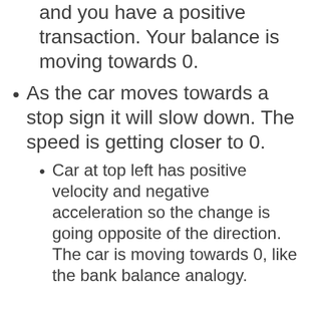and you have a positive transaction. Your balance is moving towards 0.
As the car moves towards a stop sign it will slow down. The speed is getting closer to 0.
Car at top left has positive velocity and negative acceleration so the change is going opposite of the direction. The car is moving towards 0, like the bank balance analogy.